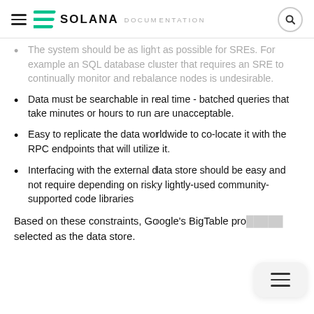SOLANA DOCUMENTATION
The system should be as light as possible for SREs. For example an SQL database cluster that requires an SRE to continually monitor and rebalance nodes is undesirable.
Data must be searchable in real time - batched queries that take minutes or hours to run are unacceptable.
Easy to replicate the data worldwide to co-locate it with the RPC endpoints that will utilize it.
Interfacing with the external data store should be easy and not require depending on risky lightly-used community-supported code libraries
Based on these constraints, Google's BigTable pro... selected as the data store.